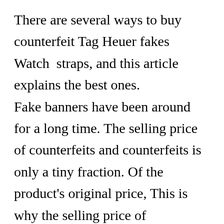There are several ways to buy counterfeit Tag Heuer fakes Watch straps, and this article explains the best ones.
Fake banners have been around for a long time. The selling price of counterfeits and counterfeits is only a tiny fraction. Of the product's original price, This is why the selling price of counterfeits and counterfeits has become an attractive market for both buyers and sellers.
But how to buy a fake TAG Heuer strap? This article and this shows the process of the T...